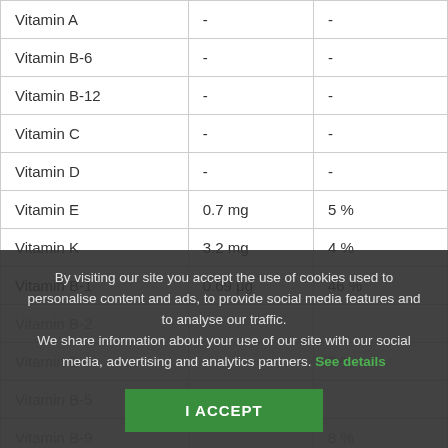|  |  |  |
| --- | --- | --- |
| Vitamin A | - | - |
| Vitamin B-6 | - | - |
| Vitamin B-12 | - | - |
| Vitamin C | - | - |
| Vitamin D | - | - |
| Vitamin E | 0.7 mg | 5 % |
| Vitamin K | 3.2 mg | 4 % |
| Vitamin B-1 | 0.69 μg | 46 % |
| Vitamin B-2 |  |  |
| Vitamin B-3 |  | 7 % |
| Vitamin B-5 |  |  |
| Vitamin B-9 |  | 8 % |
By visiting our site you accept the use of cookies used to personalise content and ads, to provide social media features and to analyse our traffic. We share information about your use of our site with our social media, advertising and analytics partners. See details